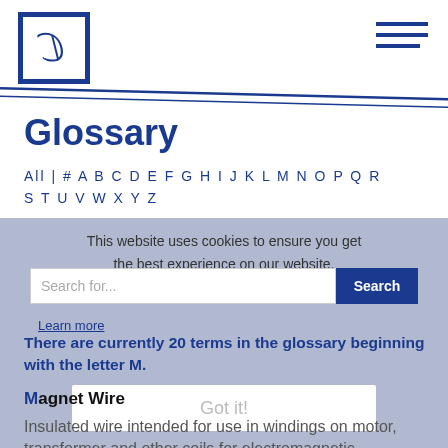Glossary page header with logo and navigation
Glossary
All | # A B C D E F G H I J K L M N O P Q R S T U V W X Y Z
This website uses cookies to ensure you get the best experience on our website.
Search for...
Learn more
There are currently 20 terms in the glossary beginning with the letter M.
Got it!
Magnet Wire
Insulated wire intended for use in windings on motor, transformer and other coils for electromagnetic